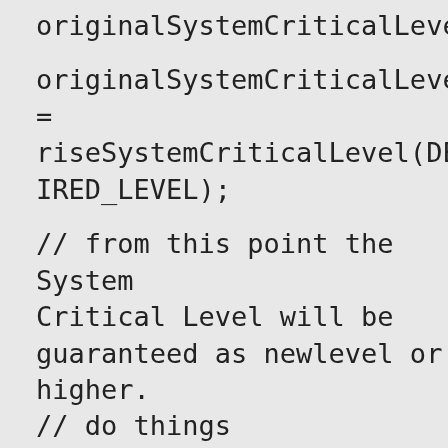originalSystemCriticalLevel;

originalSystemCriticalLevel = riseSystemCriticalLevel(DESIRED_LEVEL);

// from this point the System Critical Level will be guaranteed as newlevel or higher.
// do things

dropSystemCriticalLevel(originalSystemCriticalLevel);
// from this point the System Critical Level restored to